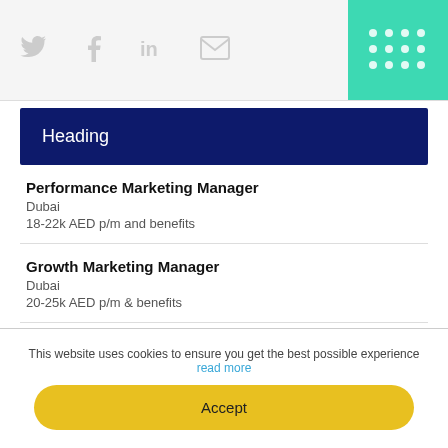[Figure (other): Social media sharing icons (Twitter, Facebook, LinkedIn, Email) in grey on a light grey bar, with a teal/green grid icon panel in the top-right corner]
Heading
Performance Marketing Manager
Dubai
18-22k AED p/m and benefits
Growth Marketing Manager
Dubai
20-25k AED p/m & benefits
Performance Marketing Manager
Dubai
15-20k AED p/m & benefits
This website uses cookies to ensure you get the best possible experience read more
Accept